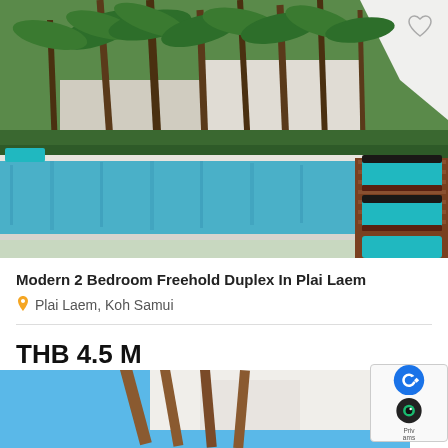[Figure (photo): Swimming pool with turquoise water, wooden deck with blue lounge chairs, palm trees and tropical greenery in background, partial white umbrella on right side]
Modern 2 Bedroom Freehold Duplex In Plai Laem
Plai Laem, Koh Samui
THB 4.5 M
[Figure (photo): Partial view of another property photo showing blue sky and wooden structure/pergola]